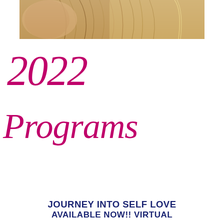[Figure (photo): Partial view of a person with long blonde hair against a warm beige/golden background, shown from approximately chest level, cropped at top of page]
2022 Programs
JOURNEY INTO SELF LOVE
AVAILABLE NOW!! VIRTUAL